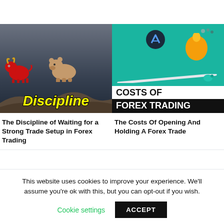[Figure (illustration): Left thumbnail: dark rocky cliff scene with red cartoon bull and brown bear facing each other, yellow italic bold text 'Discipline' at bottom]
[Figure (illustration): Right thumbnail: teal/green background with balance scale holding orange blob and piggy bank, black/white text bands reading 'COSTS OF' and 'FOREX TRADING']
The Discipline of Waiting for a Strong Trade Setup in Forex Trading
The Costs Of Opening And Holding A Forex Trade
This website uses cookies to improve your experience. We'll assume you're ok with this, but you can opt-out if you wish.
Cookie settings   ACCEPT